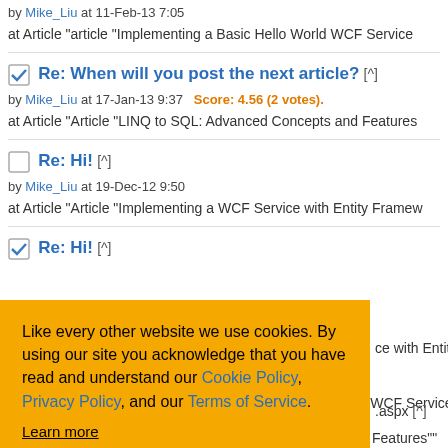by Mike_Liu at 11-Feb-13 7:05
at Article "article "Implementing a Basic Hello World WCF Service
Re: When will you post the next article? [^]
by Mike_Liu at 17-Jan-13 9:37   Score: 4.56 (2 votes).
at Article "Article "LINQ to SQL: Advanced Concepts and Features
Re: Hi! [^]
by Mike_Liu at 19-Dec-12 9:50
at Article "Article "Implementing a WCF Service with Entity Framew
Re: Hi! [^]
Like every other website we use cookies. By using our site you acknowledge that you have read and understand our Cookie Policy, Privacy Policy, and our Terms of Service. Learn more
Ask me later | Decline | Allow cookies
ce with Entity Framew
World WCF Service"
ts and Features""
.aspx [^]
by Mike_Liu at 4-Sep-12 3:54   Score: 5.00 (1 vote).